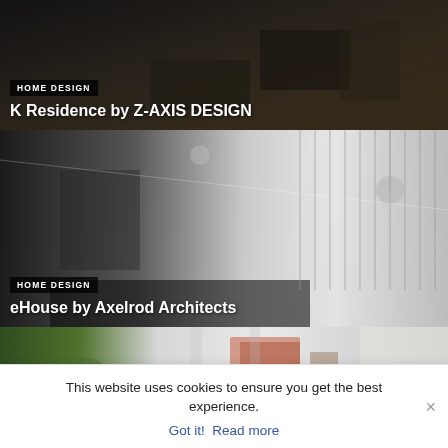[Figure (photo): Dark interior room photo, K Residence]
HOME DESIGN
K Residence by Z-AXIS DESIGN
[Figure (photo): Modern white interior with blinds, eHouse]
HOME DESIGN
eHouse by Axelrod Architects
[Figure (photo): Bright interior with tropical plants and artwork]
This website uses cookies to ensure you get the best experience.
Got it!  Read more